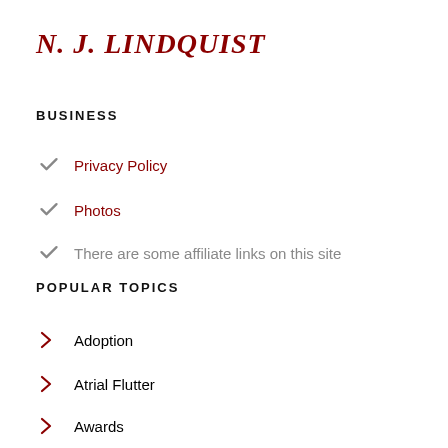N. J. LINDQUIST
BUSINESS
Privacy Policy
Photos
There are some affiliate links on this site
POPULAR TOPICS
Adoption
Atrial Flutter
Awards